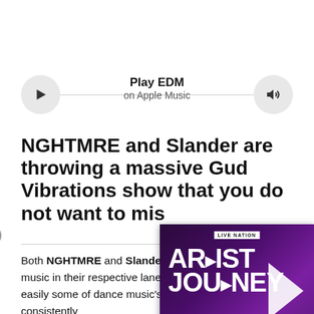[Figure (screenshot): Apple Music audio player widget with play button, volume button, and horizontal line. Text reads 'Play EDM on Apple Music']
NGHTMRE and Slander are throwing a massive Gud Vibrations show that you do not want to miss
Both NGHTMRE and Slander are creating music in their respective lanes. A easily some of dance music's biggest acts and consistently secure main stage slots at just about every festival. Their
[Figure (screenshot): Live Nation Artist Journey advertisement featuring Miley Cyrus. Dark purple/violet gradient background with white text 'LIVE NATION', 'ARTIST JOURNEY' in large bold letters with a play arrow, and 'MILEY CYRUS' at the bottom.]